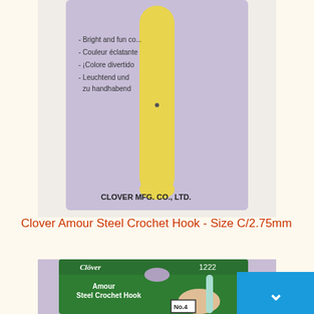[Figure (photo): Clover Amour Steel Crochet Hook product packaging - top portion showing a yellow/lime colored hook on a purple card with Clover MFG. CO., LTD. branding and multilingual text including 'Bright and fun co...', 'Couleur éclatante', '¡Colore divertido', 'Leuchtend und zu handhabend']
Clover Amour Steel Crochet Hook - Size C/2.75mm
[Figure (photo): Clover Amour Steel Crochet Hook product #1222 - green card packaging showing a mint/teal handled steel crochet hook being held by fingers. Text reads: Amour Steel Crochet Hook, Crochet en Acier Amour, Ganchillo de Acero Amour, Stahlhäkelnadel mit Suchtgefahr. Shows No.4 label and partial size marking 1.25]